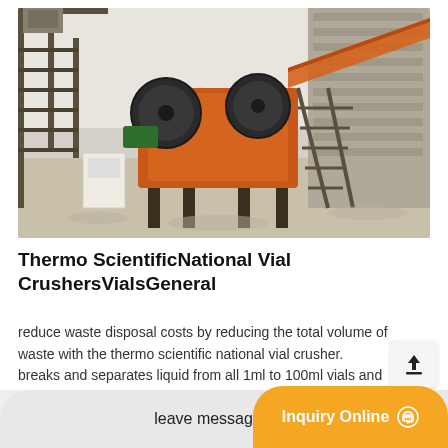[Figure (photo): Industrial jaw crusher machine installation at a stone crushing plant. Large orange crushing machinery with conveyor belts and steel framework, situated near a concrete wall with gravel/aggregate material on the ground.]
Thermo ScientificNational Vial CrushersVialsGeneral
reduce waste disposal costs by reducing the total volume of waste with the thermo scientific national vial crusher. breaks and separates liquid from all 1ml to 100ml vials and ampules. capable of processing approximately 5000